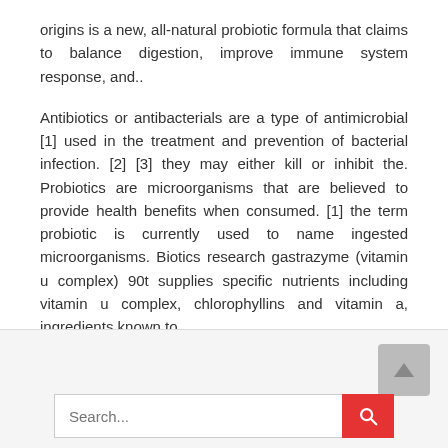origins is a new, all-natural probiotic formula that claims to balance digestion, improve immune system response, and..
Antibiotics or antibacterials are a type of antimicrobial [1] used in the treatment and prevention of bacterial infection. [2] [3] they may either kill or inhibit the. Probiotics are microorganisms that are believed to provide health benefits when consumed. [1] the term probiotic is currently used to name ingested microorganisms. Biotics research gastrazyme (vitamin u complex) 90t supplies specific nutrients including vitamin u complex, chlorophyllins and vitamin a, ingredients known to.
Search...